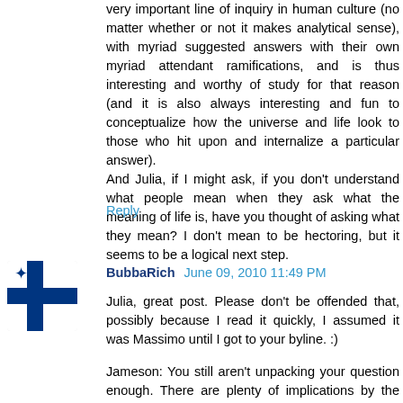very important line of inquiry in human culture (no matter whether or not it makes analytical sense), with myriad suggested answers with their own myriad attendant ramifications, and is thus interesting and worthy of study for that reason (and it is also always interesting and fun to conceptualize how the universe and life look to those who hit upon and internalize a particular answer).
And Julia, if I might ask, if you don't understand what people mean when they ask what the meaning of life is, have you thought of asking what they mean? I don't mean to be hectoring, but it seems to be a logical next step.
Reply
BubbaRich  June 09, 2010 11:49 PM
Julia, great post. Please don't be offended that, possibly because I read it quickly, I assumed it was Massimo until I got to your byline. :)
Jameson: You still aren't unpacking your question enough. There are plenty of implications by the passive voice in